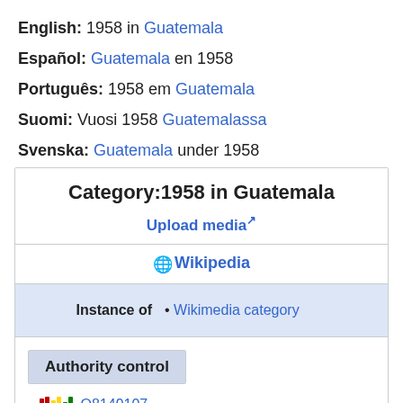English: 1958 in Guatemala
Español: Guatemala en 1958
Português: 1958 em Guatemala
Suomi: Vuosi 1958 Guatemalassa
Svenska: Guatemala under 1958
Category:1958 in Guatemala
Upload media
Wikipedia
| Instance of |  |
| --- | --- |
| Instance of | Wikimedia category |
Authority control
Q8149107